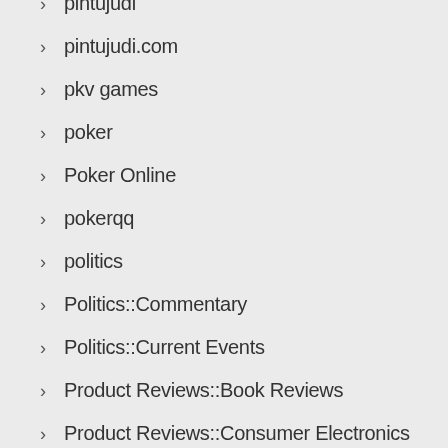pintujudi
pintujudi.com
pkv games
poker
Poker Online
pokerqq
politics
Politics::Commentary
Politics::Current Events
Product Reviews::Book Reviews
Product Reviews::Consumer Electronics
Product Reviews::Movie Reviews
programming